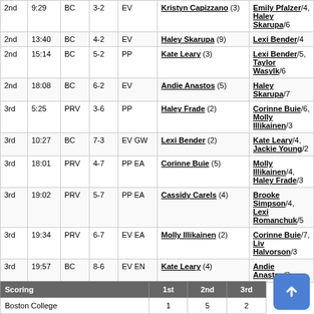| Per | Time | Team | Score | Type | Goal scorer | Assists |
| --- | --- | --- | --- | --- | --- | --- |
| 2nd | 9:29 | BC | 3-2 | EV | Kristyn Capizzano (3) | Emily Pfalzer/4, Haley Skarupa/6 |
| 2nd | 13:40 | BC | 4-2 | EV | Haley Skarupa (9) | Lexi Bender/4 |
| 2nd | 15:14 | BC | 5-2 | PP | Kate Leary (3) | Lexi Bender/5, Taylor Wasylk/6 |
| 2nd | 18:08 | BC | 6-2 | EV | Andie Anastos (5) | Haley Skarupa/7 |
| 3rd | 5:25 | PRV | 3-6 | PP | Haley Frade (2) | Corinne Buie/6, Molly Illikainen/3 |
| 3rd | 10:27 | BC | 7-3 | EV GW | Lexi Bender (2) | Kate Leary/4, Jackie Young/2 |
| 3rd | 18:01 | PRV | 4-7 | PP EA | Corinne Buie (5) | Molly Illikainen/4, Haley Frade/3 |
| 3rd | 19:02 | PRV | 5-7 | PP EA | Cassidy Carels (4) | Brooke Simpson/4, Lexi Romanchuk/5 |
| 3rd | 19:34 | PRV | 6-7 | EV EA | Molly Illikainen (2) | Corinne Buie/7, Liv Halvorson/3 |
| 3rd | 19:57 | BC | 8-6 | EV EN | Kate Leary (4) | Andie Anastos/3 |
| Scoring | 1st | 2nd | 3rd | T |
| --- | --- | --- | --- | --- |
| Boston College | 1 | 5 | 2 | 8 |